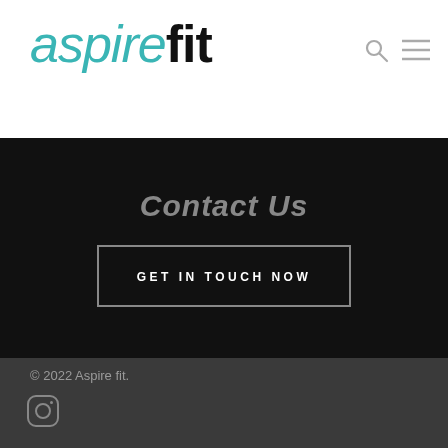aspirefit
Contact Us
GET IN TOUCH NOW
© 2022 Aspire fit.